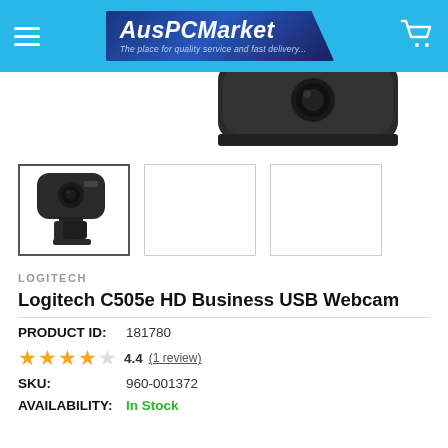AusPCMarket - The place for quality service and fast delivery...
[Figure (photo): Partially visible Logitech C505e HD Business USB Webcam (cropped top portion showing the webcam body)]
[Figure (photo): Thumbnail gallery showing three image slots: first has Logitech C505e webcam product image (selected/active), second and third are empty white boxes]
LOGITECH
Logitech C505e HD Business USB Webcam
PRODUCT ID:  181780
4.4  (1 review)
SKU:  960-001372
AVAILABILITY:  In Stock